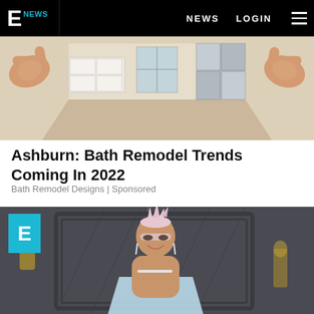E NEWS  NEWS  LOGIN
[Figure (photo): Hands framing a bathroom remodel scene with white cabinetry, wood-look floor tiles, and a window with tile accent wall]
Ashburn: Bath Remodel Trends Coming In 2022
Bath Remodel Designs | Sponsored
[Figure (photo): Celebrity woman with spiked light pink hair at the Grammy Awards, wearing a light blue sequined dress and diamond necklace, smiling on the red carpet. E! News logo watermark in upper left.]